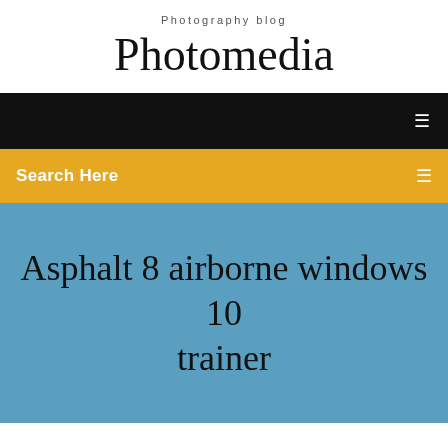Photography blog
Photomedia
[Figure (screenshot): Black navigation bar with hamburger menu icon on right]
[Figure (screenshot): Gold/amber search bar with text 'Search Here' on left and search icon on right]
Asphalt 8 airborne windows 10 trainer